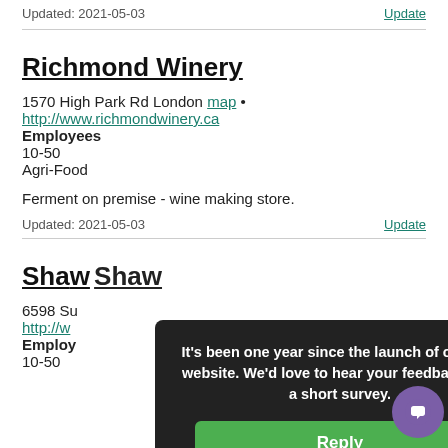Updated: 2021-05-03    Update
Richmond Winery
1570 High Park Rd London map •
http://www.richmondwinery.ca
Employees
10-50
Agri-Food
Ferment on premise - wine making store.
Updated: 2021-05-03    Update
Shaw...
6598 Su...
http://w...
Employees
10-50
It's been one year since the launch of our new website. We'd love to hear your feedback with a short survey.